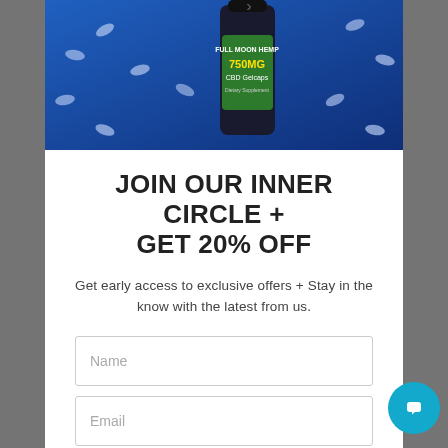[Figure (photo): Product photo of Full Moon Hemp 750MG CBD Gelcaps bottle on blue background with gel capsules scattered around]
JOIN OUR INNER CIRCLE + GET 20% OFF
Get early access to exclusive offers + Stay in the know with the latest from us.
Name
Email
JOIN THE LIST